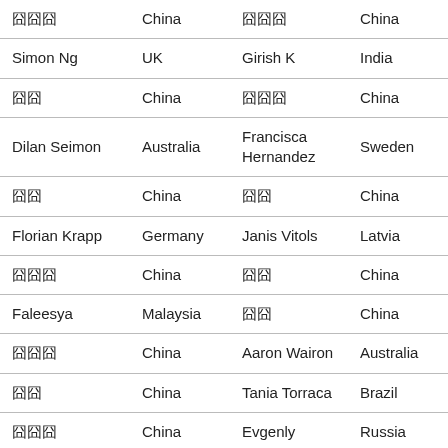| 囧囧囧 | China | 囧囧囧 | China |
| Simon Ng | UK | Girish K | India |
| 囧囧 | China | 囧囧囧 | China |
| Dilan Seimon | Australia | Francisca Hernandez | Sweden |
| 囧囧 | China | 囧囧 | China |
| Florian Krapp | Germany | Janis Vitols | Latvia |
| 囧囧囧 | China | 囧囧 | China |
| Faleesya | Malaysia | 囧囧 | China |
| 囧囧囧 | China | Aaron Wairon | Australia |
| 囧囧 | China | Tania Torraca | Brazil |
| 囧囧囧 | China | Evgenly | Russia |
| Aden Wong | Hong Kong | Angela Khochueva | Russia |
| 囧囧 | China | 囧囧 | China |
| Yana Sidarava | Russia | Chang Min | Austria |